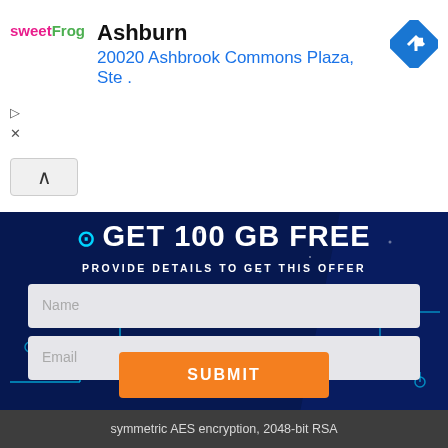[Figure (screenshot): SweetFrog ad banner showing Ashburn location at 20020 Ashbrook Commons Plaza with navigation icon]
GET 100 GB FREE
PROVIDE DETAILS TO GET THIS OFFER
Name
Email
SUBMIT
symmetric AES encryption, 2048-bit RSA